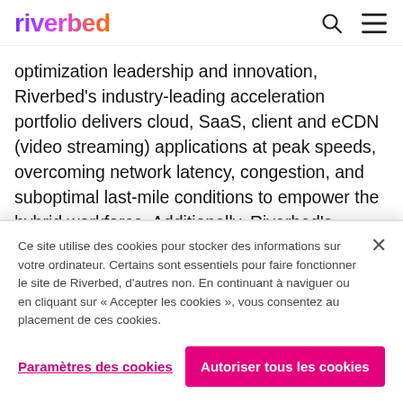riverbed
optimization leadership and innovation, Riverbed’s industry-leading acceleration portfolio delivers cloud, SaaS, client and eCDN (video streaming) applications at peak speeds, overcoming network latency, congestion, and suboptimal last-mile conditions to empower the hybrid workforce. Additionally, Riverbed’s enterprise SD-WAN provides best-in-class performance, agility, and
Ce site utilise des cookies pour stocker des informations sur votre ordinateur. Certains sont essentiels pour faire fonctionner le site de Riverbed, d’autres non. En continuant à naviguer ou en cliquant sur « Accepter les cookies », vous consentez au placement de ces cookies.
Paramètres des cookies
Autoriser tous les cookies